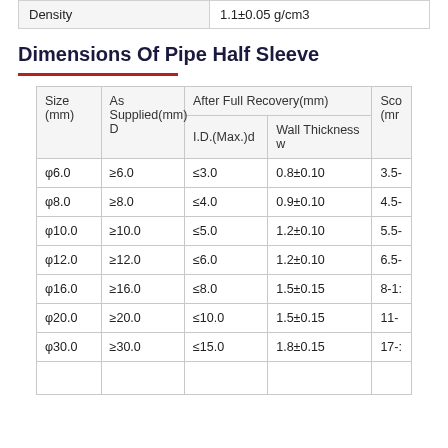| Density | 1.1±0.05 g/cm3 |
| --- | --- |
Dimensions Of Pipe Half Sleeve
| Size (mm) | As Supplied(mm) D | After Full Recovery(mm) I.D.(Max.)d | After Full Recovery(mm) Wall Thickness w | Sco (mm) |
| --- | --- | --- | --- | --- |
| φ6.0 | ≥6.0 | ≤3.0 | 0.8±0.10 | 3.5- |
| φ8.0 | ≥8.0 | ≤4.0 | 0.9±0.10 | 4.5- |
| φ10.0 | ≥10.0 | ≤5.0 | 1.2±0.10 | 5.5- |
| φ12.0 | ≥12.0 | ≤6.0 | 1.2±0.10 | 6.5- |
| φ16.0 | ≥16.0 | ≤8.0 | 1.5±0.15 | 8-1- |
| φ20.0 | ≥20.0 | ≤10.0 | 1.5±0.15 | 11- |
| φ30.0 | ≥30.0 | ≤15.0 | 1.8±0.15 | 17- |